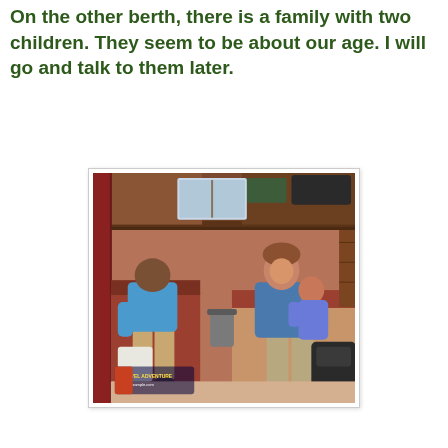On the other berth, there is a family with two children. They seem to be about our age. I will go and talk to them later.
[Figure (photo): Interior of a train compartment with reddish-brown upholstered seats. A woman sits smiling while holding a young girl. A boy sits on the opposite bench looking down at something. Luggage and bags are visible. A small watermark/logo is visible in the lower left corner of the photo.]